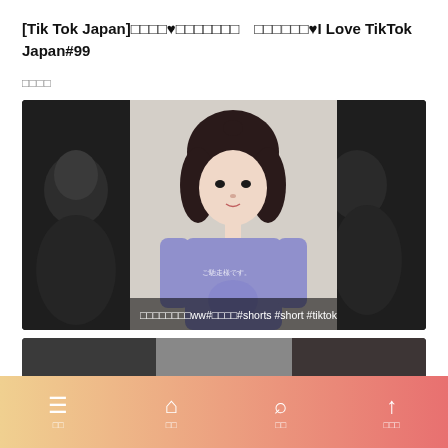[Tik Tok Japan]□□□□♥□□□□□□□　□□□□□□♥I Love TikTok Japan#99
□□□□
[Figure (screenshot): Video thumbnail showing a young woman with short dark hair wearing a purple sweatshirt with text 'ご馳走様です。', displayed in a triptych/triple panel layout. Bottom subtitle reads: □□□□□□□□ww#□□□□#shorts #short #tiktok]
[Figure (screenshot): Partially visible second video thumbnail at the bottom of the page.]
☰ 　🏠　🔍　↑  □□　□□　□□　□□□